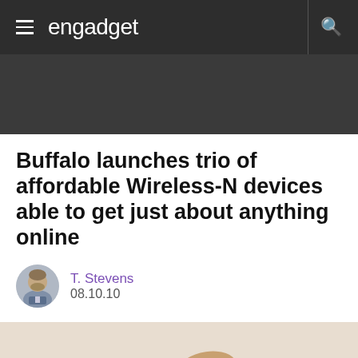engadget
[Figure (illustration): Dark gray advertisement/banner area below the navigation bar]
Buffalo launches trio of affordable Wireless-N devices able to get just about anything online
T. Stevens
08.10.10
[Figure (photo): A hand holding a small black USB wireless adapter/dongle between thumb and index finger]